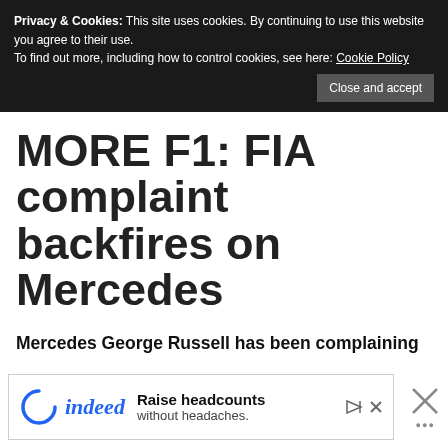Privacy & Cookies: This site uses cookies. By continuing to use this website you agree to their use. To find out more, including how to control cookies, see here: Cookie Policy
MORE F1: FIA complaint backfires on Mercedes
Mercedes George Russell has been complaining
about the design of the 2022 cars for most of the sea...
[Figure (screenshot): Indeed advertisement banner: 'Raise headcounts without headaches.']